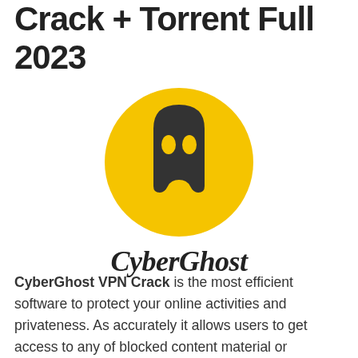Crack + Torrent Full 2023
[Figure (logo): CyberGhost VPN logo: yellow circle with dark ghost mascot icon, and 'CyberGhost' italic wordmark below]
CyberGhost VPN Crack is the most efficient software to protect your online activities and privateness. As accurately it allows users to get access to any of blocked content material or censored content material from anywhere inside the international. It offers many modern